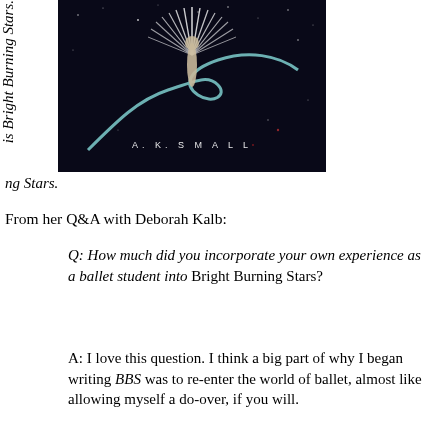is Bright Burning Stars.
[Figure (photo): Book cover of Bright Burning Stars by A.K. Small, showing a ballet dancer with feathers on a dark starry background with a ribbon of light.]
From her Q&A with Deborah Kalb:
Q: How much did you incorporate your own experience as a ballet student into Bright Burning Stars?
A: I love this question. I think a big part of why I began writing BBS was to re-enter the world of ballet, almost like allowing myself a do-over, if you will.